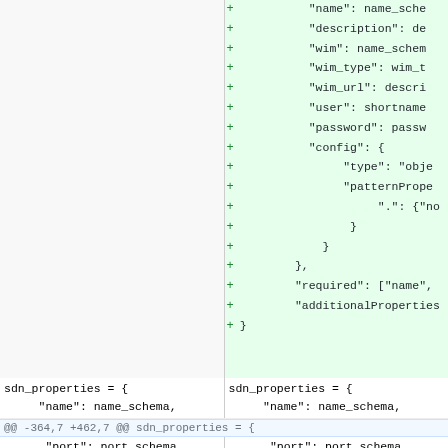[Figure (screenshot): A code diff view showing two columns. The right column (top half) has green added lines starting with '+' showing JSON schema properties including name, description, wim, wim_type, wim_url, user, password, config with type/patternProperties, required, additionalProperties, and closing braces. The left top column is blank/grey. The bottom portion shows context lines for sdn_properties in both columns, a hunk header '@@ -364,7 +462,7 @@ sdn_properties = {', context lines for port_schema, type string, version type, and a final diff row showing deletion of 'user: nameshort_sche' on left (pink) and addition of 'user: shortname_sch' on right (green).]